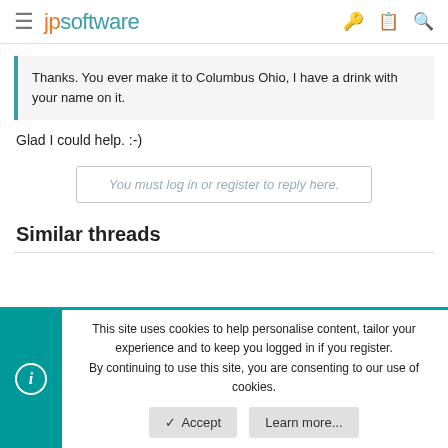jpsoftware
Thanks. You ever make it to Columbus Ohio, I have a drink with your name on it.
Glad I could help. :-)
You must log in or register to reply here.
Similar threads
This site uses cookies to help personalise content, tailor your experience and to keep you logged in if you register.
By continuing to use this site, you are consenting to our use of cookies.
Accept
Learn more...